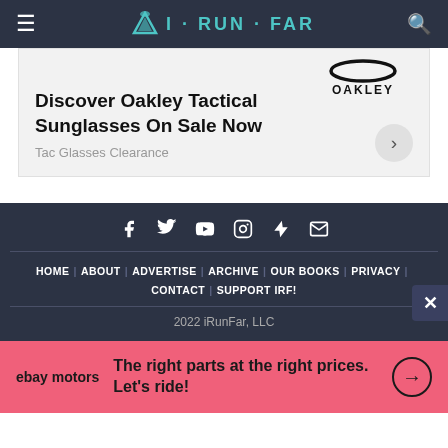iRUNFAR
[Figure (screenshot): Oakley ad banner: Discover Oakley Tactical Sunglasses On Sale Now. Tac Glasses Clearance.]
HOME | ABOUT | ADVERTISE | ARCHIVE | OUR BOOKS | PRIVACY | CONTACT | SUPPORT IRF! | 2022 iRunFar, LLC
[Figure (screenshot): eBay Motors ad: The right parts at the right prices. Let's ride!]